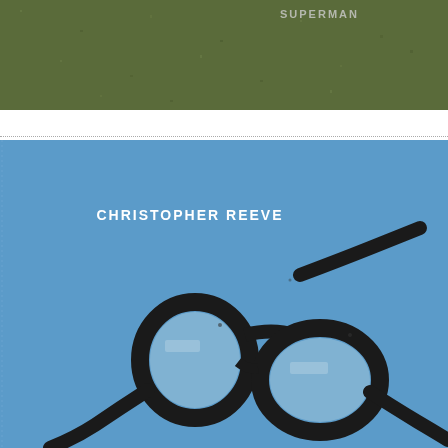[Figure (illustration): Top portion of a movie poster with olive/army green textured background, partially visible title text at top in white/light color]
[Figure (illustration): Bottom portion of a movie poster with sky blue background showing 'CHRISTOPHER REEVE' text in white bold letters and a large illustrated pair of black-rimmed glasses (Clark Kent / Superman style) in the lower portion of the image]